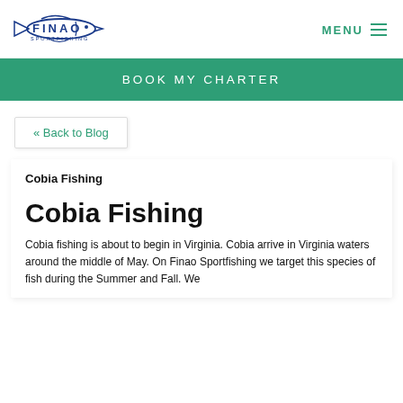[Figure (logo): Finao Sportfishing logo with blue marlin/fish illustration and text]
MENU
BOOK MY CHARTER
« Back to Blog
Cobia Fishing
Cobia Fishing
Cobia fishing is about to begin in Virginia. Cobia arrive in Virginia waters around the middle of May. On Finao Sportfishing we target this species of fish during the Summer and Fall. We